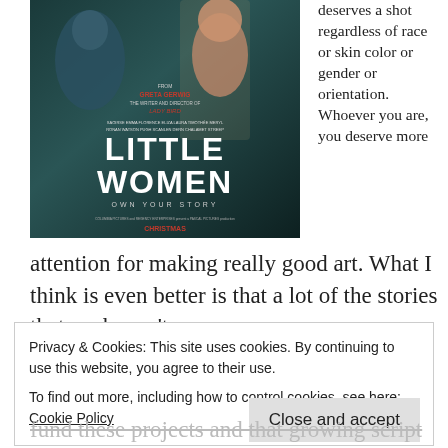[Figure (photo): Movie poster for 'Little Women' directed by Greta Gerwig. Stars listed: Saoirse Ronan, Emma Watson, Florence Pugh, Eliza Scanlen, Laura Dern, Timothée Chalamet, Meryl Streep. Tagline: OWN YOUR STORY. Christmas release. From the writer and director of Lady Bird.]
deserves a shot regardless of race or skin color or gender or orientation. Whoever you are, you deserve more attention for making really good art. What I think is even better is that a lot of the stories that we haven't
Privacy & Cookies: This site uses cookies. By continuing to use this website, you agree to their use.
To find out more, including how to control cookies, see here: Cookie Policy
Close and accept
fund these projects and that growing script to